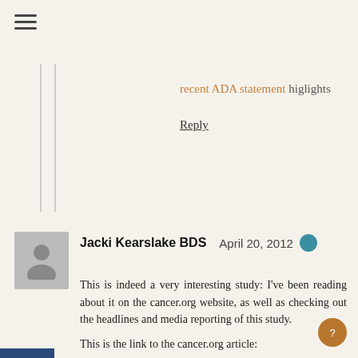recent ADA statement highlights
Reply
Jacki Kearslake BDS   April 20, 2012
This is indeed a very interesting study: I've been reading about it on the cancer.org website, as well as checking out the headlines and media reporting of this study.

This is the link to the cancer.org article:

http://www.cancer.org/Cancer/news/News/study-examines-possible-link-between-dental-x-rays-and-meningioma-risk

First and foremost, it goes without saying that we all need to approach dental radiography understanding that we are directing ionising radiation into another